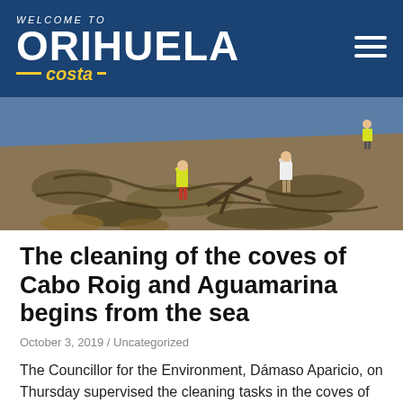WELCOME TO ORIHUELA costa
[Figure (photo): Workers in high-visibility vests cleaning a rocky cove shoreline with debris and seaweed, near the sea.]
The cleaning of the coves of Cabo Roig and Aguamarina begins from the sea
October 3, 2019 / Uncategorized
The Councillor for the Environment, Dámaso Aparicio, on Thursday supervised the cleaning tasks in the coves of Cabo Roig and Aguamarina, for the first time